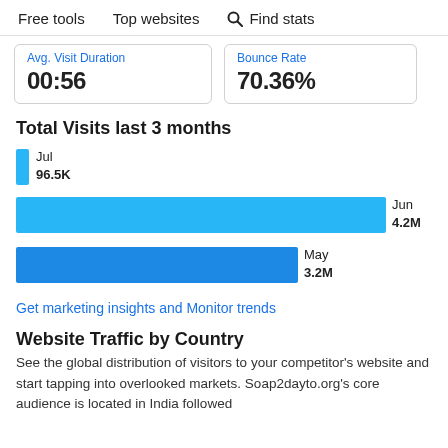Free tools   Top websites   Find stats
| Avg. Visit Duration | Bounce Rate |
| --- | --- |
| 00:56 | 70.36% |
Total Visits last 3 months
[Figure (bar-chart): Total Visits last 3 months]
Get marketing insights and Monitor trends
Website Traffic by Country
See the global distribution of visitors to your competitor's website and start tapping into overlooked markets. Soap2dayto.org's core audience is located in India followed